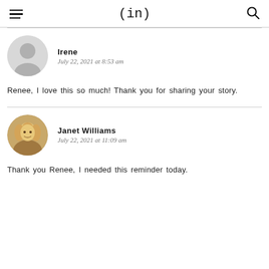(in)
Irene
July 22, 2021 at 8:53 am
Renee, I love this so much! Thank you for sharing your story.
Janet Williams
July 22, 2021 at 11:09 am
Thank you Renee, I needed this reminder today.